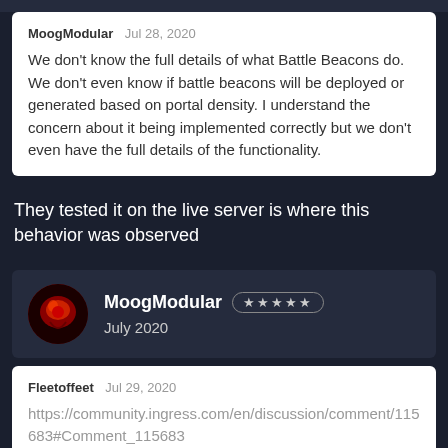MoogModular  Jul 28, 2020
We don't know the full details of what Battle Beacons do. We don't even know if battle beacons will be deployed or generated based on portal density. I understand the concern about it being implemented correctly but we don't even have the full details of the functionality.
They tested it on the live server is where this behavior was observed
MoogModular ★★★★★
July 2020
Fleetoffeet  Jul 29, 2020
https://community.ingress.com/en/discussion/comment/115683#Comment_115683
They tested it on the live server is where this behavior was